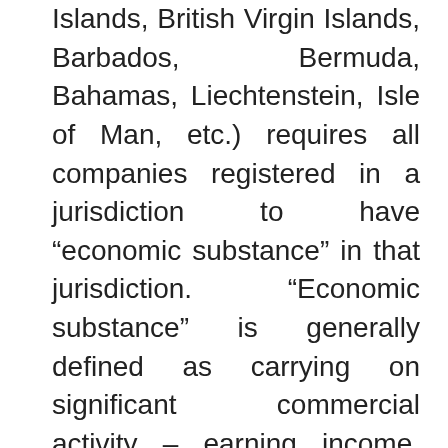Islands, British Virgin Islands, Barbados, Bermuda, Bahamas, Liechtenstein, Isle of Man, etc.) requires all companies registered in a jurisdiction to have “economic substance” in that jurisdiction.  “Economic substance” is generally defined as carrying on significant commercial activity – earning income, maintaining local physical assets, employing local personnel, performing local management and decision making.  The effect of “Action 5” is the elimination of shell companies registered in foreign financial jurisdictions for tax avoidance purposes.
In addition, and of greater significance, the OECD “Anti-Abuse Campaign” has resulted in